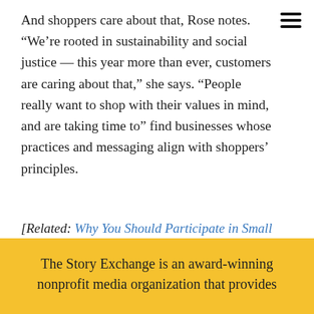And shoppers care about that, Rose notes. “We’re rooted in sustainability and social justice — this year more than ever, customers are caring about that,” she says. “People really want to shop with their values in mind, and are taking time to” find businesses whose practices and messaging align with shoppers’ principles.
[Related: Why You Should Participate in Small Business Saturday]
[Figure (other): Social sharing bar with Twitter, Facebook, LinkedIn buttons and a share count of 0 SHARES]
The Story Exchange is an award-winning nonprofit media organization that provides